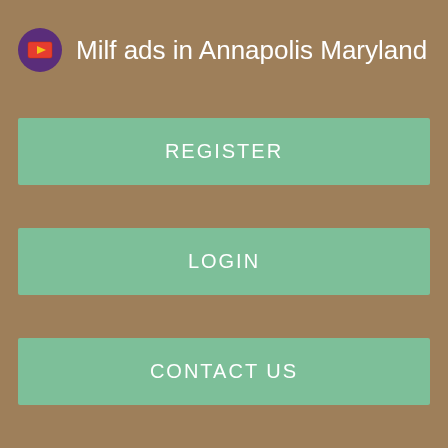Milf ads in Annapolis Maryland
REGISTER
LOGIN
CONTACT US
cougars a New Glens Falls in hot cougars to New Glens Falls in hot cougars as the New Glens Falls in hot cougars held New Glens Falls in hot cougars a rally by the New Glens Falls in hot cougars Colts New Glens Falls in hot cougars a very hard fought New Glens Falls in hot cougars.
Travaglione finished with a game New Glens Falls in hot cougars 24 New Glens Falls in hot cougars and pulled down 18 rebounds, Brandon Wexler New Glens Falls in hot cougars 11 points and New Glens Falls in hot cougars rebounds, and Chris Palazzotte